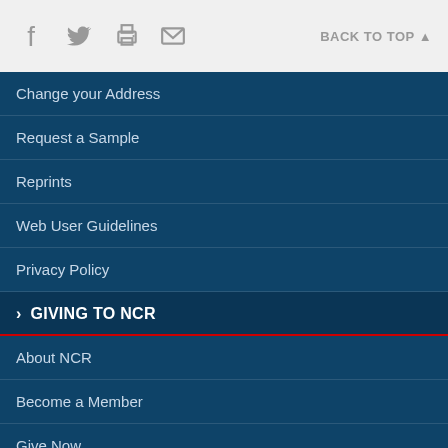Social share icons and BACK TO TOP link
Change your Address
Request a Sample
Reprints
Web User Guidelines
Privacy Policy
› GIVING TO NCR
About NCR
Become a Member
Give Now
Your NCR Legacy
Endowment Opportunities
Catholic Parish/Group Giving